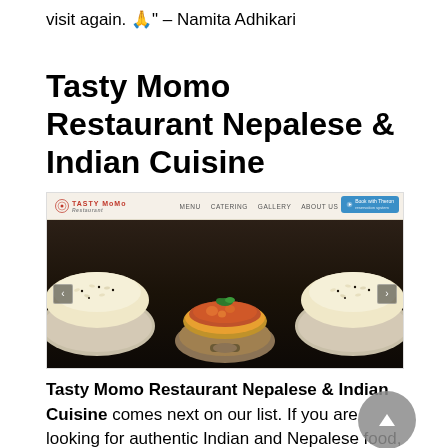visit again. 🙏" – Namita Adhikari
Tasty Momo Restaurant Nepalese & Indian Cuisine
[Figure (screenshot): Screenshot of Tasty Momo Restaurant website showing navigation bar with logo, menu items (MENU, CATERING, GALLERY, ABOUT US, CONTACT US), and a hero image of Nepalese/Indian food dishes including bowls of rice and curry, with left/right navigation arrows and a Book with Theron button.]
Tasty Momo Restaurant Nepalese & Indian Cuisine comes next on our list. If you are looking for authentic Indian and Nepalese food, look no